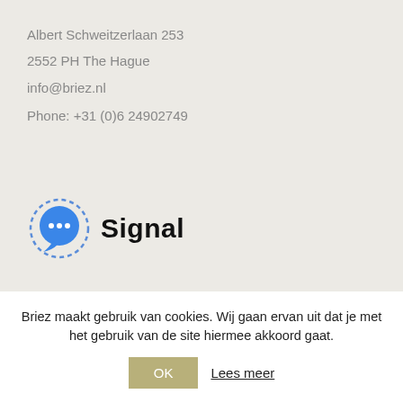Albert Schweitzerlaan 253
2552 PH The Hague
info@briez.nl
Phone: +31 (0)6 24902749
[Figure (logo): Signal logo: blue circle speech bubble icon with dashed border and the word 'Signal' in bold black text]
[Figure (logo): kubm logo: overlapping yellow and green circles with 'kubm' text in white italic and curved green text reading 'keuze vrij bij mij']
Briez maakt gebruik van cookies. Wij gaan ervan uit dat je met het gebruik van de site hiermee akkoord gaat.
OK  Lees meer